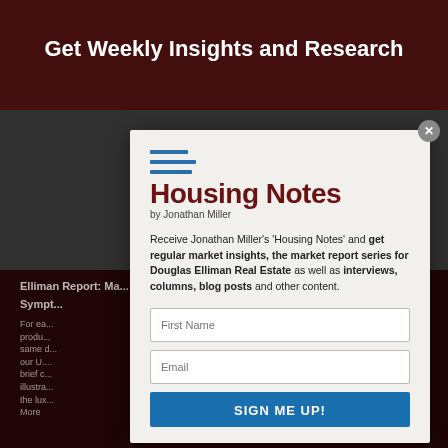Get Weekly Insights and Research
Housing Notes by Jonathan Miller
Receive Jonathan Miller's 'Housing Notes' and get regular market insights, the market report series for Douglas Elliman Real Estate as well as interviews, columns, blog posts and other content.
First Name
Email
SIGN ME UP!